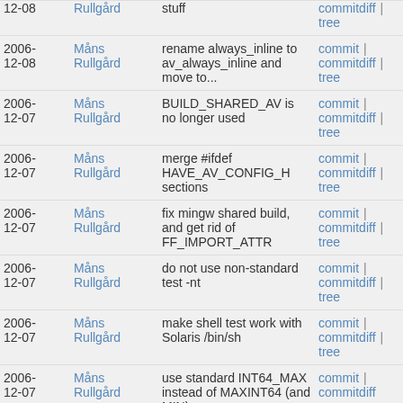| Date | Author | Message | Links |
| --- | --- | --- | --- |
| 2006-12-08 | Måns Rullgård | rename always_inline to av_always_inline and move to... | commit | commitdiff | tree |
| 2006-12-07 | Måns Rullgård | BUILD_SHARED_AV is no longer used | commit | commitdiff | tree |
| 2006-12-07 | Måns Rullgård | merge #ifdef HAVE_AV_CONFIG_H sections | commit | commitdiff | tree |
| 2006-12-07 | Måns Rullgård | fix mingw shared build, and get rid of FF_IMPORT_ATTR | commit | commitdiff | tree |
| 2006-12-07 | Måns Rullgård | do not use non-standard test -nt | commit | commitdiff | tree |
| 2006-12-07 | Måns Rullgård | make shell test work with Solaris /bin/sh | commit | commitdiff | tree |
| 2006-12-07 | Måns Rullgård | use standard INT64_MAX instead of MAXINT64 (and MIN) | commit | commitdiff |